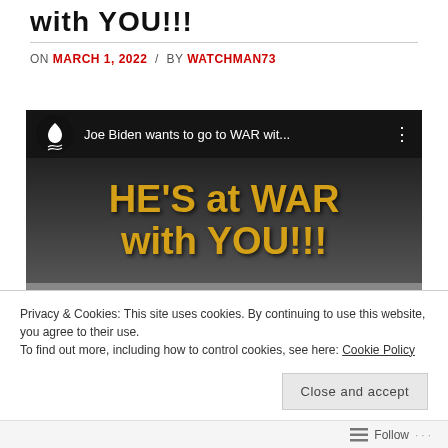with YOU!!!
ON MARCH 1, 2022 / BY WATCHMAN73
[Figure (screenshot): YouTube video thumbnail showing text 'HE'S at WAR with YOU!!!' in large gold letters on dark background, with YouTube play button overlay and partial image of an elderly man. Video title bar reads 'Joe Biden wants to go to WAR wit...']
Privacy & Cookies: This site uses cookies. By continuing to use this website, you agree to their use.
To find out more, including how to control cookies, see here: Cookie Policy
Close and accept
Follow